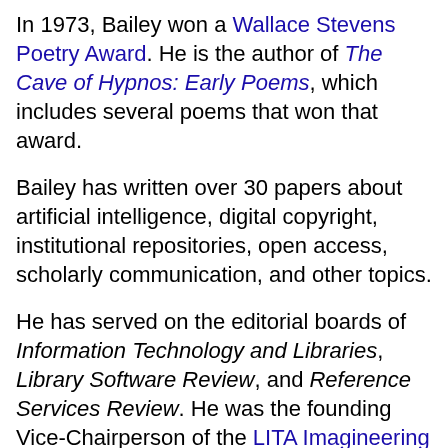In 1973, Bailey won a Wallace Stevens Poetry Award. He is the author of The Cave of Hypnos: Early Poems, which includes several poems that won that award.
Bailey has written over 30 papers about artificial intelligence, digital copyright, institutional repositories, open access, scholarly communication, and other topics.
He has served on the editorial boards of Information Technology and Libraries, Library Software Review, and Reference Services Review. He was the founding Vice-Chairperson of the LITA Imagineering Interest Group.
Bailey is a digital artist, and he has made over 600 digital artworks freely available